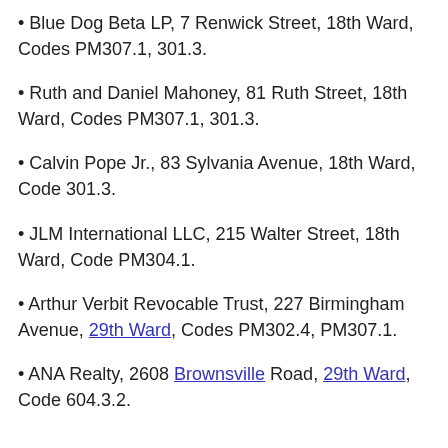Blue Dog Beta LP, 7 Renwick Street, 18th Ward, Codes PM307.1, 301.3.
Ruth and Daniel Mahoney, 81 Ruth Street, 18th Ward, Codes PM307.1, 301.3.
Calvin Pope Jr., 83 Sylvania Avenue, 18th Ward, Code 301.3.
JLM International LLC, 215 Walter Street, 18th Ward, Code PM304.1.
Arthur Verbit Revocable Trust, 227 Birmingham Avenue, 29th Ward, Codes PM302.4, PM307.1.
ANA Realty, 2608 Brownsville Road, 29th Ward, Code 604.3.2.